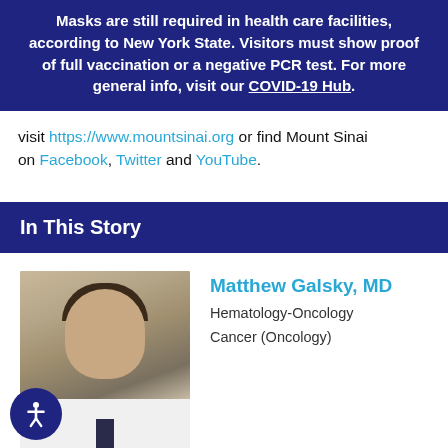Masks are still required in health care facilities, according to New York State. Visitors must show proof of full vaccination or a negative PCR test. For more general info, visit our COVID-19 Hub.
visit https://www.mountsinai.org or find Mount Sinai on Facebook, Twitter and YouTube.
In This Story
[Figure (photo): Headshot of Matthew Galsky, MD, a man in a white coat with a dark tie]
Matthew Galsky, MD
Hematology-Oncology
Cancer (Oncology)